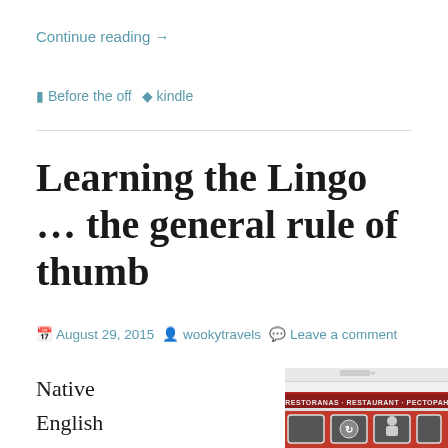Continue reading →
Before the off   kindle
Learning the Lingo … the general rule of thumb
August 29, 2015   wookytravels   Leave a comment
Native English speakers are lazy, ignorant
[Figure (photo): Side of a red train/restaurant car with text RESTORANAS · RESTAURANT · PECTOPAH, showing windows and a logo.]